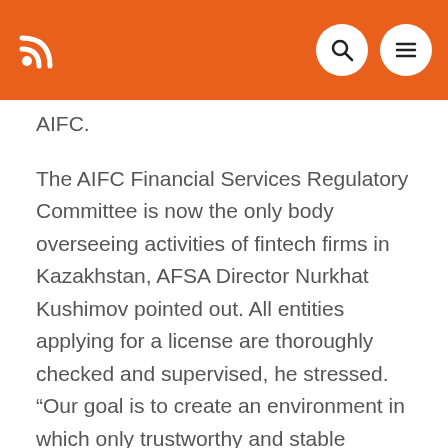RSS | Search | Menu
AIFC.
The AIFC Financial Services Regulatory Committee is now the only body overseeing activities of fintech firms in Kazakhstan, AFSA Director Nurkhat Kushimov pointed out. All entities applying for a license are thoroughly checked and supervised, he stressed. “Our goal is to create an environment in which only trustworthy and stable companies that enjoy the trust of customers would operate,” the official stated.
The positive development for the local crypto industry comes after a recent statement by the National Bank of Kazakhstan, which...